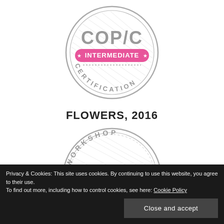[Figure (logo): Copic Intermediate Certification badge - circular gray border badge with COPIC text, pink/magenta INTERMEDIATE banner with stars, and CERTIFICATION text along bottom arc, with diagonal line pattern fill]
FLOWERS, 2016
[Figure (logo): Copic Workshop Coloring badge - circular gray border badge with WORKSHOP text along top arc, COPIC text large in center, blue COLORING banner with stars, and diagonal line pattern fill]
Privacy & Cookies: This site uses cookies. By continuing to use this website, you agree to their use.
To find out more, including how to control cookies, see here: Cookie Policy
Close and accept